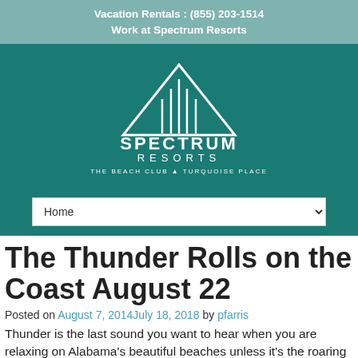Vacation Rentals : (855) 203-1514
Work at Spectrum Resorts
[Figure (logo): Spectrum Resorts logo with triangle/mountain shape and text: SPECTRUM RESORTS, THE BEACH CLUB, TURQUOISE PLACE]
The Thunder Rolls on the Coast August 22
Posted on August 7, 2014July 18, 2018 by pfarris
Thunder is the last sound you want to hear when you are relaxing on Alabama's beautiful beaches unless it's the roaring sound coming from Thunder on the Gulf. Fans of all ages are eagerly anticipating the annual powerboat